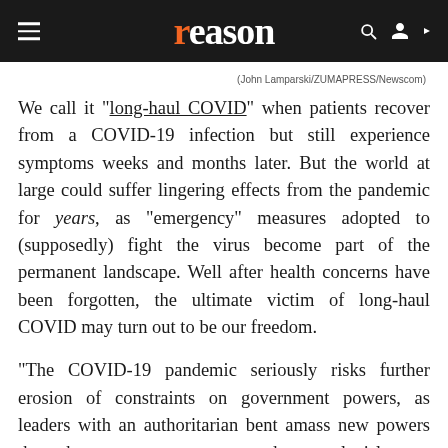reason
(John Lamparski/ZUMAPRESS/Newscom)
We call it "long-haul COVID" when patients recover from a COVID-19 infection but still experience symptoms weeks and months later. But the world at large could suffer lingering effects from the pandemic for years, as "emergency" measures adopted to (supposedly) fight the virus become part of the permanent landscape. Well after health concerns have been forgotten, the ultimate victim of long-haul COVID may turn out to be our freedom.
"The COVID-19 pandemic seriously risks further erosion of constraints on government powers, as leaders with an authoritarian bent amass new powers through emergency measures, and courts, legislatures, and other institutional and citizen checks are hampered in carrying out their